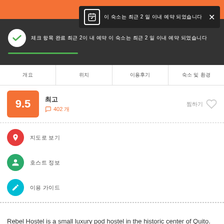예약 버튼 영역
이 숙소는 최근 2일 이내 예약 되었습니다
체크 항목 완료 표시 및 최근 2일 이내 예약 안내 메시지
개요  위치  이용후기  숙소 및 환경
9.5 최고
402 개
찜하기
지도로 보기
호스트 정보
이용 가이드
Rebel Hostel is a small luxury pod hostel in the historic center of Quito. Located in a remodeled historic colonial home, we have large social areas including a large modern and fully stocked kitchen and dining area and two chill lounges in our patios of which one is a